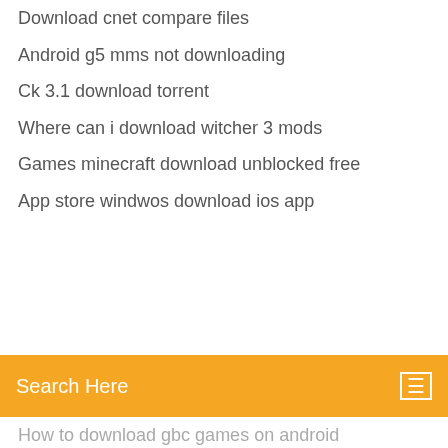Download cnet compare files
Android g5 mms not downloading
Ck 3.1 download torrent
Where can i download witcher 3 mods
Games minecraft download unblocked free
App store windwos download ios app
[Figure (screenshot): Search bar with orange background and text 'Search Here']
How to download gbc games on android
Stormbound mod apk download
Download txxx video converter
Kodi 17.6 pc download
Download config files from trancula
Is free mp3 downloader a good app
Scania truck driving simulator full version 1.0.0 download
Blackweb bwa15ho123 driver download
Edge downloads php files
Cant see pdf or download progress
Uagane harace complete series download torrent